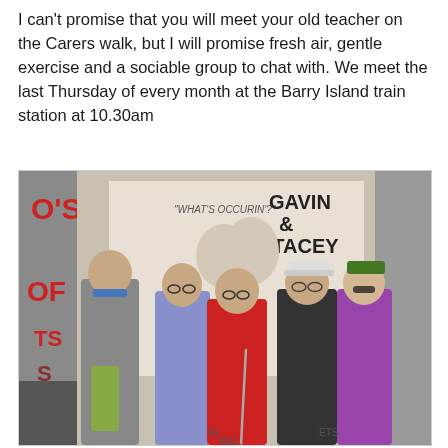I can't promise that you will meet your old teacher on the Carers walk, but I will promise fresh air, gentle exercise and a sociable group to chat with. We meet the last Thursday of every month at the Barry Island train station at 10.30am
[Figure (photo): Group of five people (four women and one man) standing in front of a shop window displaying a Gavin & Stacey promotional poster with text 'WHAT'S OCCURIN?' and 'GAVIN & STACEY'. The people are dressed in casual/outdoor wear including coloured fleeces and jackets. One person holds walking poles.]